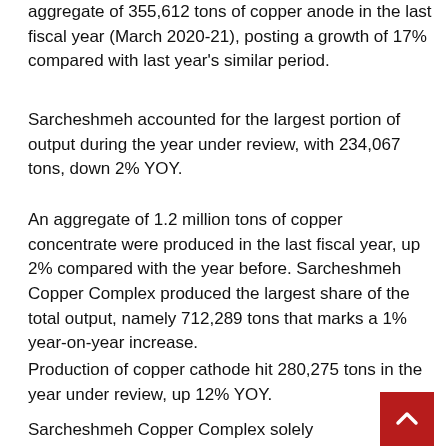aggregate of 355,612 tons of copper anode in the last fiscal year (March 2020-21), posting a growth of 17% compared with last year's similar period.
Sarcheshmeh accounted for the largest portion of output during the year under review, with 234,067 tons, down 2% YOY.
An aggregate of 1.2 million tons of copper concentrate were produced in the last fiscal year, up 2% compared with the year before. Sarcheshmeh Copper Complex produced the largest share of the total output, namely 712,289 tons that marks a 1% year-on-year increase.
Production of copper cathode hit 280,275 tons in the year under review, up 12% YOY.
Sarcheshmeh Copper Complex solely produced [scroll button] 00